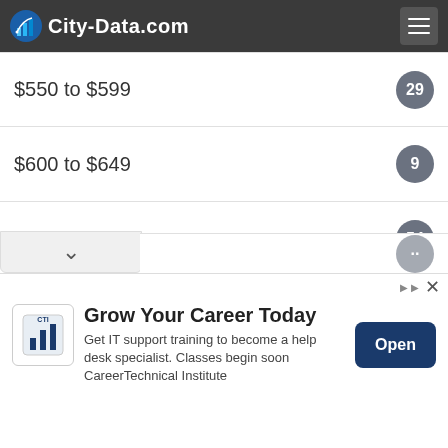City-Data.com
$500 to $549 — 61
$550 to $599 — 29
$600 to $649 — 9
$650 to $699 — 54
$700 to $749 — 23
$750 to $799 — 22
$800 to $899 — 32
$1,250 to $1,499 — 4
[Figure (screenshot): Advertisement banner: Grow Your Career Today - Career Technical Institute. Get IT support training to become a help desk specialist. Classes begin soon. Open button.]